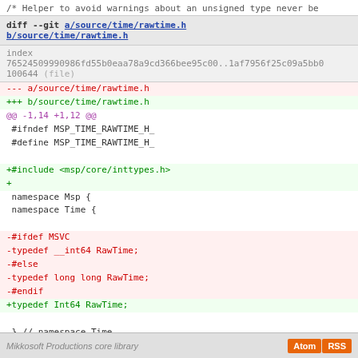/* Helper to avoid warnings about an unsigned type never be
diff --git a/source/time/rawtime.h b/source/time/rawtime.h
index 76524509990986fd55b0eaa78a9cd366bee95c00..1af7956f25c09a5bb0 100644 (file)
--- a/source/time/rawtime.h
+++ b/source/time/rawtime.h
@@ -1,14 +1,12 @@
 #ifndef MSP_TIME_RAWTIME_H_
 #define MSP_TIME_RAWTIME_H_

+#include <msp/core/inttypes.h>
+
 namespace Msp {
 namespace Time {

-#ifdef MSVC
-typedef __int64 RawTime;
-#else
-typedef long long RawTime;
-#endif
+typedef Int64 RawTime;

 } // namespace Time
 } // namespace Msp
Mikkosoft Productions core library   Atom RSS